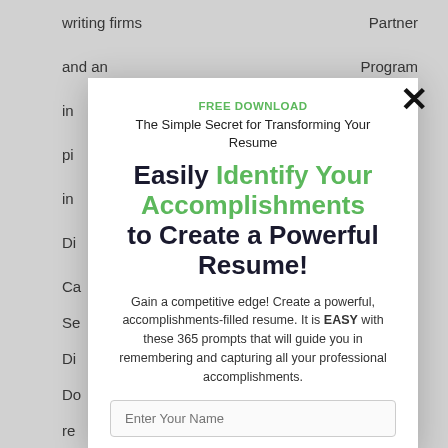writing firms
Partner
and an
Program
in
pi
in
Di
Ca
Se
Di
Do
re
ou
un
ex
[Figure (screenshot): A modal popup dialog for a free download offer. Title in green: FREE DOWNLOAD. Subtitle: The Simple Secret for Transforming Your Resume. Large heading: Easily Identify Your Accomplishments to Create a Powerful Resume! Body text: Gain a competitive edge! Create a powerful, accomplishments-filled resume. It is EASY with these 365 prompts that will guide you in remembering and capturing all your professional accomplishments. Input field placeholder: Enter Your Name. Close button (X) top right.]